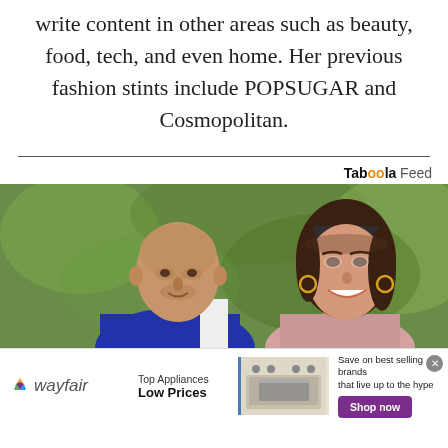write content in other areas such as beauty, food, tech, and even home. Her previous fashion stints include POPSUGAR and Cosmopolitan.
[Figure (photo): Photo of two people (a man in blue and white polo shirt and a woman with sunglasses on her head, wearing earrings, smiling) outdoors with green background. Taboola Feed label above the image.]
[Figure (screenshot): Wayfair advertisement banner: Wayfair logo on left, 'Top Appliances Low Prices' text, photo of stove/range appliance, 'Save on best selling brands that live up to the hype' text, purple 'Shop now' button. Close X button in top right.]